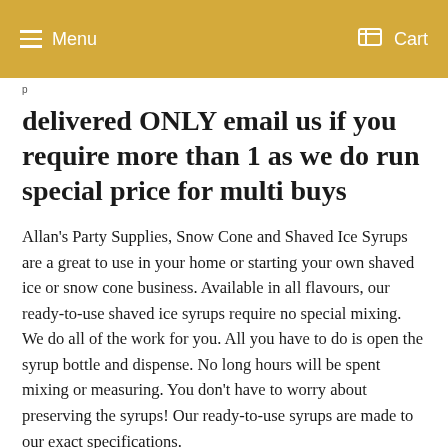Menu  Cart
delivered ONLY email us if you require more than 1 as we do run special price for multi buys
Allan's Party Supplies, Snow Cone and Shaved Ice Syrups are a great to use in your home or starting your own shaved ice or snow cone business. Available in all flavours, our ready-to-use shaved ice syrups require no special mixing. We do all of the work for you. All you have to do is open the syrup bottle and dispense. No long hours will be spent mixing or measuring. You don't have to worry about preserving the syrups! Our ready-to-use syrups are made to our exact specifications.